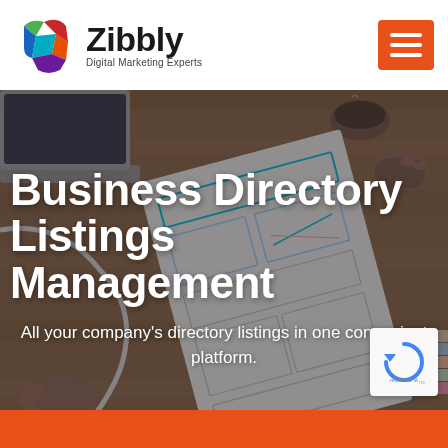[Figure (logo): Zibbly logo with colorful Z icon and text 'Zibbly Digital Marketing Experts']
[Figure (other): Orange hamburger menu button with three white horizontal bars]
[Figure (photo): Hero background photo: hands holding a wireframe/design document over a wooden desk with laptop, coffee, notebooks]
Business Directory Listings Management
All your company's directory listings in one convenient platform.
[Figure (other): Google reCAPTCHA badge widget, light background with recycling arrow icon]
[Figure (other): Orange bottom bar / call-to-action strip]